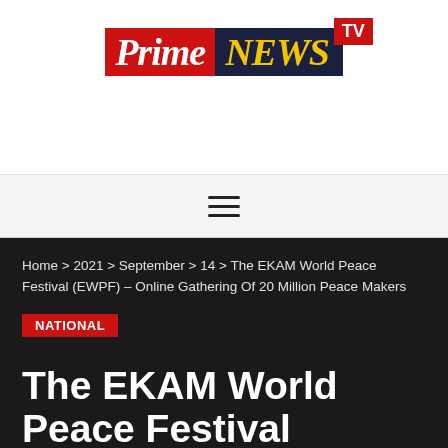[Figure (logo): Prime News TV logo — 'Prime' in white italic on red background, 'NEWS' in yellow italic on dark navy background, 'TV' in white on red badge top-right]
☰ Navigation menu icon
Home > 2021 > September > 14 > The EKAM World Peace Festival (EWPF) – Online Gathering Of 20 Million Peace Makers
NATIONAL
The EKAM World Peace Festival (EWPF) – Online Gathering Of 20 Million Peace Makers